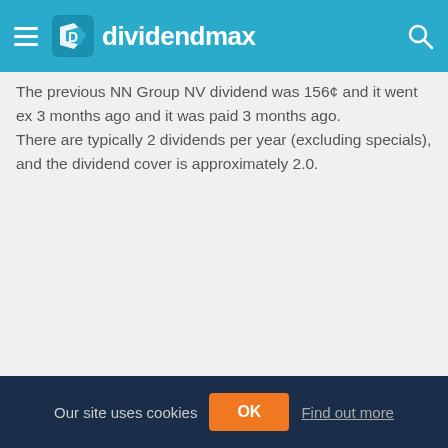dividendmax
The previous NN Group NV dividend was 156¢ and it went ex 3 months ago and it was paid 3 months ago. There are typically 2 dividends per year (excluding specials), and the dividend cover is approximately 2.0.
Our site uses cookies  OK  Find out more